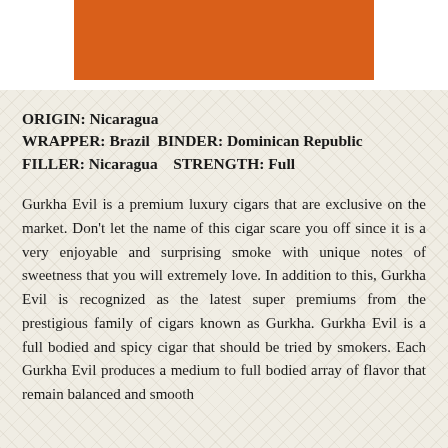[Figure (other): Orange/burnt-sienna colored rectangular banner/header bar centered at the top of the page]
ORIGIN: Nicaragua
WRAPPER: Brazil  BINDER: Dominican Republic
FILLER: Nicaragua   STRENGTH: Full
Gurkha Evil is a premium luxury cigars that are exclusive on the market. Don’t let the name of this cigar scare you off since it is a very enjoyable and surprising smoke with unique notes of sweetness that you will extremely love. In addition to this, Gurkha Evil is recognized as the latest super premiums from the prestigious family of cigars known as Gurkha. Gurkha Evil is a full bodied and spicy cigar that should be tried by smokers. Each Gurkha Evil produces a medium to full bodied array of flavor that remain balanced and smooth